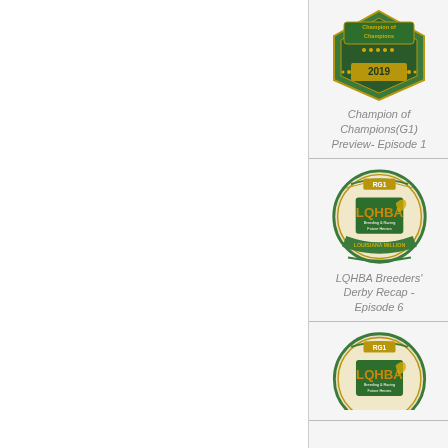[Figure (logo): Champion of Champions 2019 badge/logo - green and gold hexagonal award badge]
Champion of Champions(G1) Preview- Episode 1
[Figure (logo): LQHBA RG1 Breeding & Racing Future Heroes Louisiana Million circular badge logo]
LQHBA Breeders' Derby Recap - Episode 6
[Figure (logo): LQHBA RG1 Breeding & Racing Future Heroes Louisiana Million circular badge logo (second instance)]